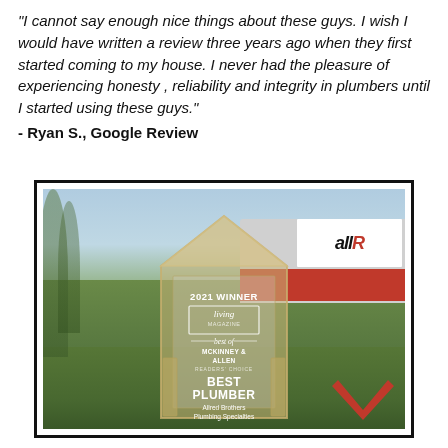"I cannot say enough nice things about these guys. I wish I would have written a review three years ago when they first started coming to my house. I never had the pleasure of experiencing honesty , reliability and integrity in plumbers until I started using these guys." - Ryan S., Google Review
[Figure (photo): Photo of a 2021 Winner award trophy - Living Magazine Best of McKinney & Allen Readers Choice, Best Plumber, Allred Brothers Plumbing Specialties. The glass house-shaped trophy sits on grass with a service truck visible in the background. A red chevron/arrow logo appears in the bottom right corner.]